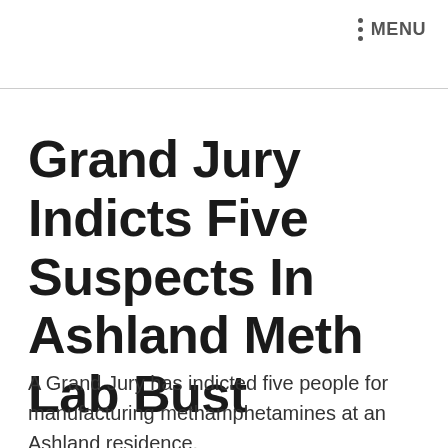MENU
Grand Jury Indicts Five Suspects In Ashland Meth Lab Bust
A Grand Jury has indicted five people for manufacturing methamphetamines at an Ashland residence.